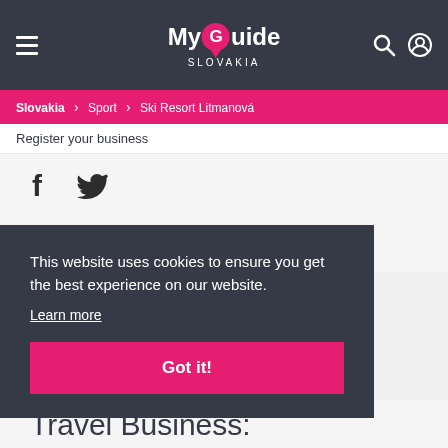My Guide Slovakia
Slovakia > Sport > Ski Resort Litmanová
Register your business
[Figure (illustration): Facebook and Twitter social icons]
My Guide Network
This website uses cookies to ensure you get the best experience on our website.
Learn more
Got it!
Travel Business: